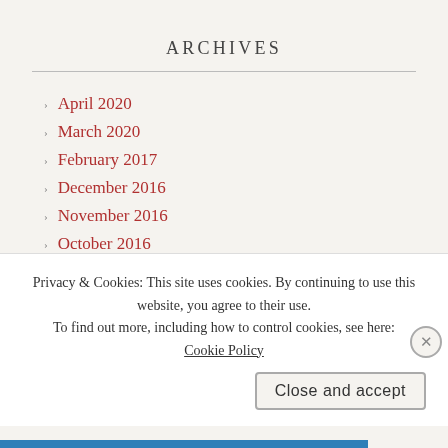ARCHIVES
April 2020
March 2020
February 2017
December 2016
November 2016
October 2016
September 2016
Privacy & Cookies: This site uses cookies. By continuing to use this website, you agree to their use.
To find out more, including how to control cookies, see here: Cookie Policy
Close and accept